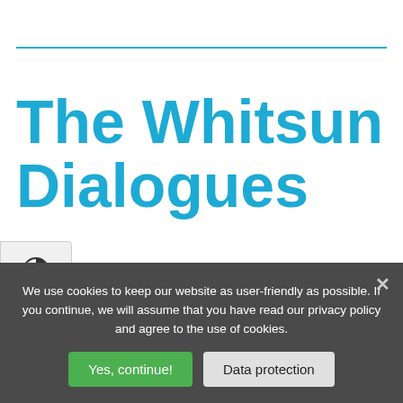The Whitsun Dialogues
"Geist & Gegenwart" ("The spirit & the present") Whitsun Dialogues have been taking place at
We use cookies to keep our website as user-friendly as possible. If you continue, we will assume that you have read our privacy policy and agree to the use of cookies.